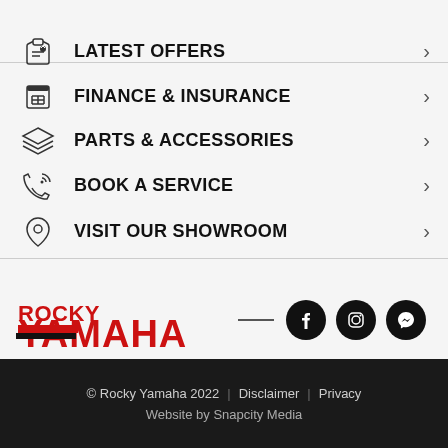LATEST OFFERS
FINANCE & INSURANCE
PARTS & ACCESSORIES
BOOK A SERVICE
VISIT OUR SHOWROOM
[Figure (logo): Rocky Yamaha logo in red and black, with Facebook, Instagram, and Messenger social icons]
© Rocky Yamaha 2022 | Disclaimer | Privacy
Website by Snapcity Media